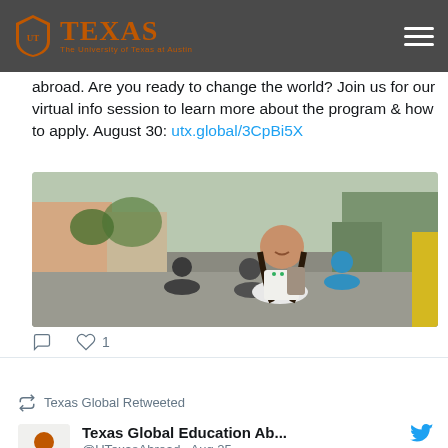TEXAS — The University of Texas at Austin
abroad. Are you ready to change the world? Join us for our virtual info session to learn more about the program & how to apply. August 30: utx.global/3CpBi5X
[Figure (photo): A smiling young woman walking on a street with children riding bikes behind her, in what appears to be a Latin American town setting.]
Texas Global Retweeted
Texas Global Education Ab... @UTexasAbroad · Aug 25